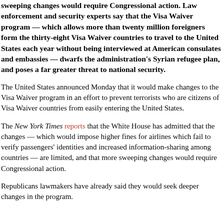sweeping changes would require Congressional action. Law enforcement and security experts say that the Visa Waiver program — which allows more than twenty million foreigners form the thirty-eight Visa Waiver countries to travel to the United States each year without being interviewed at American consulates and embassies — dwarfs the administration's Syrian refugee plan, and poses a far greater threat to national security.
The United States announced Monday that it would make changes to the Visa Waiver program in an effort to prevent terrorists who are citizens of Visa Waiver countries from easily entering the United States.
The New York Times reports that the White House has admitted that the changes — which would impose higher fines for airlines which fail to verify passengers' identities and increased information-sharing among countries — are limited, and that more sweeping changes would require Congressional action.
Republicans lawmakers have already said they would seek deeper changes in the program.